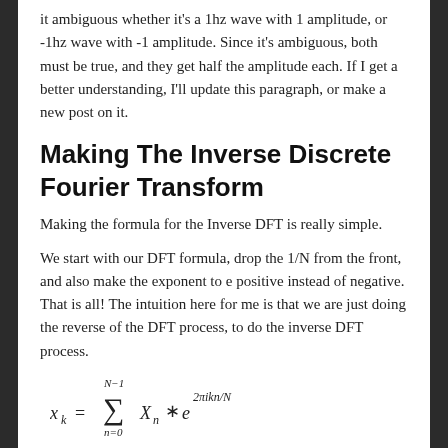it ambiguous whether it's a 1hz wave with 1 amplitude, or -1hz wave with -1 amplitude. Since it's ambiguous, both must be true, and they get half the amplitude each. If I get a better understanding, I'll update this paragraph, or make a new post on it.
Making The Inverse Discrete Fourier Transform
Making the formula for the Inverse DFT is really simple.
We start with our DFT formula, drop the 1/N from the front, and also make the exponent to e positive instead of negative. That is all! The intuition here for me is that we are just doing the reverse of the DFT process, to do the inverse DFT process.
While the DFT takes in real valued signals and gives out complex